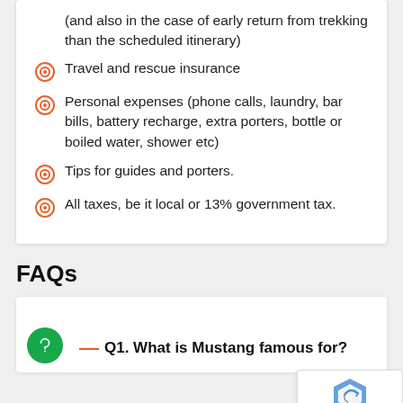(and also in the case of early return from trekking than the scheduled itinerary)
Travel and rescue insurance
Personal expenses (phone calls, laundry, bar bills, battery recharge, extra porters, bottle or boiled water, shower etc)
Tips for guides and porters.
All taxes, be it local or 13% government tax.
FAQs
Q1. What is Mustang famous for?